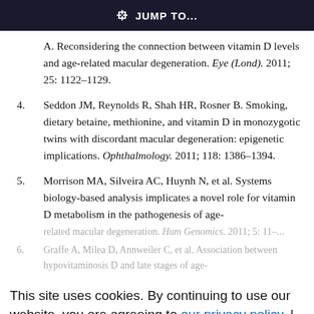JUMP TO...
A. Reconsidering the connection between vitamin D levels and age-related macular degeneration. Eye (Lond). 2011; 25: 1122–1129.
4. Seddon JM, Reynolds R, Shah HR, Rosner B. Smoking, dietary betaine, methionine, and vitamin D in monozygotic twins with discordant macular degeneration: epigenetic implications. Ophthalmology. 2011; 118: 1386–1394.
5. Morrison MA, Silveira AC, Huynh N, et al. Systems biology-based analysis implicates a novel role for vitamin D metabolism in the pathogenesis of age-related macular degeneration. Hum Genomics. 2011; 5: 11–...
This site uses cookies. By continuing to use our website, you are agreeing to our privacy policy. | Accept
6. Graffe A, Milea D, Annweiler C, et al. Association between hypovitaminosis D and late stages of age-